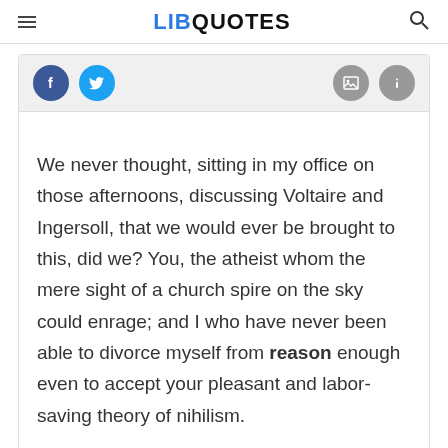LIBQUOTES
We never thought, sitting in my office on those afternoons, discussing Voltaire and Ingersoll, that we would ever be brought to this, did we? You, the atheist whom the mere sight of a church spire on the sky could enrage; and I who have never been able to divorce myself from reason enough even to accept your pleasant and labor-saving theory of nihilism.